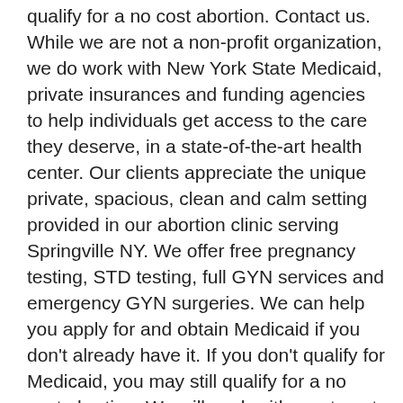qualify for a no cost abortion. Contact us. While we are not a non-profit organization, we do work with New York State Medicaid, private insurances and funding agencies to help individuals get access to the care they deserve, in a state-of-the-art health center. Our clients appreciate the unique private, spacious, clean and calm setting provided in our abortion clinic serving Springville NY. We offer free pregnancy testing, STD testing, full GYN services and emergency GYN surgeries. We can help you apply for and obtain Medicaid if you don't already have it. If you don't qualify for Medicaid, you may still qualify for a no cost abortion. We will work with you to put you in touch with resources to help defer the cost of your healthcare. Our caring and highly trained staff goes out of their way to get you the resources you need to get the care you deserve. If you need help or need to talk, just call. Contact us today!